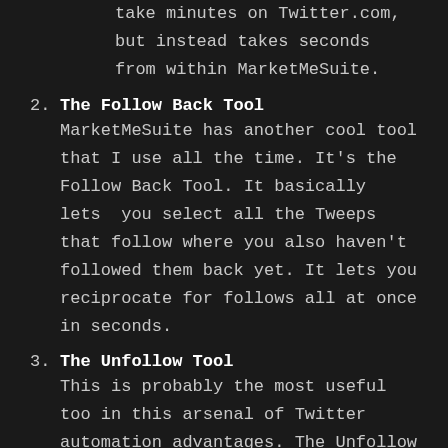take minutes on Twitter.com, but instead takes seconds from within MarketMeSuite.
2. The Follow Back Tool
MarketMeSuite has another cool tool that I use all the time. It's the Follow Back Tool. It basically lets you select all the Tweeps that follow where you also haven't followed them back yet. It lets you reciprocate for follows all at once in seconds.
3. The Unfollow Tool
This is probably the most useful too in this arsenal of Twitter automation advantages. The Unfollow Tool lets you selectively Unfollow all the stingy and snoozing tweeps who you follow but haven't followed you back yet.